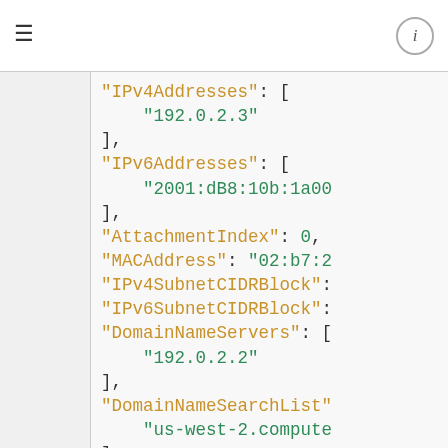menu / info
JSON code snippet showing network interface properties: IPv4Addresses, IPv6Addresses, AttachmentIndex, MACAddress, IPv4SubnetCIDRBlock, IPv6SubnetCIDRBlock, DomainNameServers, DomainNameSearchList, PrivateDNSName, SubnetGatewayIpv4Addr